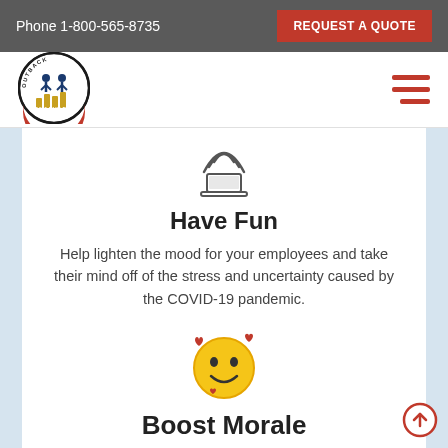Phone 1-800-565-8735  REQUEST A QUOTE
[Figure (logo): Outback Team Building & Training circular logo with people silhouettes]
[Figure (illustration): Hamburger menu icon (three red horizontal bars)]
[Figure (illustration): Laptop with wifi/signal lines icon]
Have Fun
Help lighten the mood for your employees and take their mind off of the stress and uncertainty caused by the COVID-19 pandemic.
[Figure (illustration): Smiling face emoji with hearts]
Boost Morale
[Figure (illustration): Scroll to top circular arrow button]